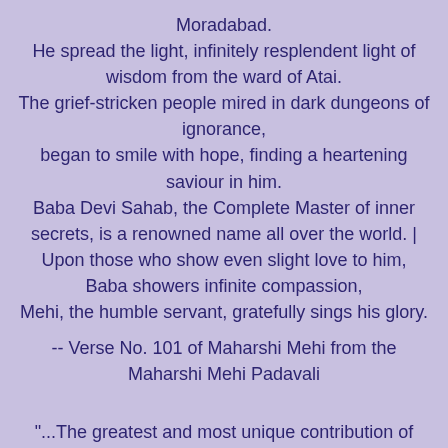Moradabad.
He spread the light, infinitely resplendent light of wisdom from the ward of Atai.
The grief-stricken people mired in dark dungeons of ignorance,
began to smile with hope, finding a heartening saviour in him.
Baba Devi Sahab, the Complete Master of inner secrets, is a renowned name all over the world. |
Upon those who show even slight love to him, Baba showers infinite compassion,
Mehi, the humble servant, gratefully sings his glory.
-- Verse No. 101 of Maharshi Mehi from the Maharshi Mehi Padavali
"...The greatest and most unique contribution of